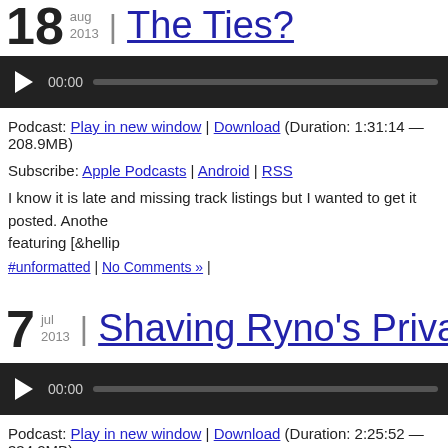18 aug 2013 | The Ties?
[Figure (other): Audio player bar with play button, 00:00 timestamp and progress bar]
Podcast: Play in new window | Download (Duration: 1:31:14 — 208.9MB)
Subscribe: Apple Podcasts | Android | RSS
I know it is late and missing track listings but I wanted to get it posted. Anothe featuring [&hellip
#unformatted | No Comments » |
7 jul 2013 | Shaving Ryno's Priva
[Figure (other): Audio player bar with play button, 00:00 timestamp and progress bar]
Podcast: Play in new window | Download (Duration: 2:25:52 — 334.2MB)
Subscribe: Apple Podcasts | Android | RSS